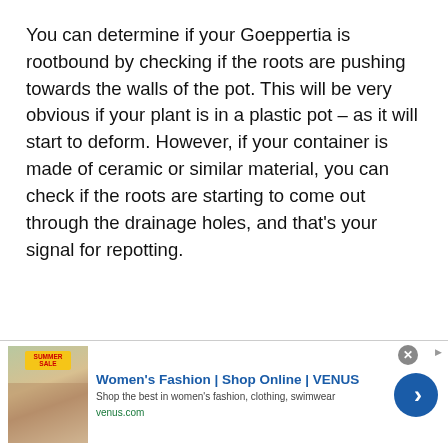You can determine if your Goeppertia is rootbound by checking if the roots are pushing towards the walls of the pot. This will be very obvious if your plant is in a plastic pot – as it will start to deform. However, if your container is made of ceramic or similar material, you can check if the roots are starting to come out through the drainage holes, and that's your signal for repotting.
To repot, you should care...
[Figure (other): Advertisement banner for Women's Fashion | Shop Online | VENUS with thumbnail image showing a woman and summer sale badge, ad title, subtitle text 'Shop the best in women's fashion, clothing, swimwear', URL 'venus.com', close button, and a blue arrow button.]